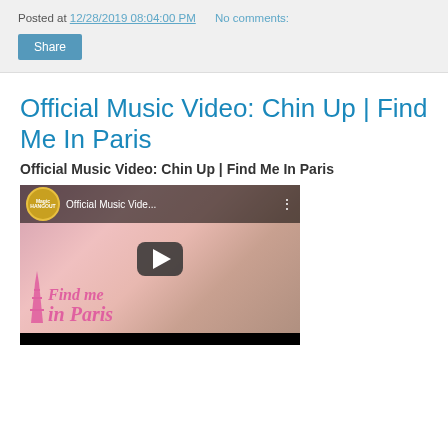Posted at 12/28/2019 08:04:00 PM    No comments:
Share
Official Music Video: Chin Up | Find Me In Paris
Official Music Video: Chin Up | Find Me In Paris
[Figure (screenshot): YouTube video thumbnail showing two people facing each other in a romantic scene with pink Eiffel Tower and 'Find me in Paris' text overlay. Channel: Magic Hangout. Video title: Official Music Vide...]